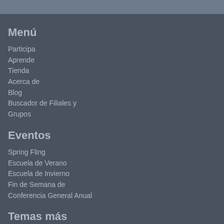Menú
Participa
Aprende
Tienda
Acerca de
Blog
Buscador de Filiales y Grupos
Eventos
Spring Fling
Escuela de Verano
Escuela de Invierno
Fin de Semana de Conferencia General Anual
Temas más